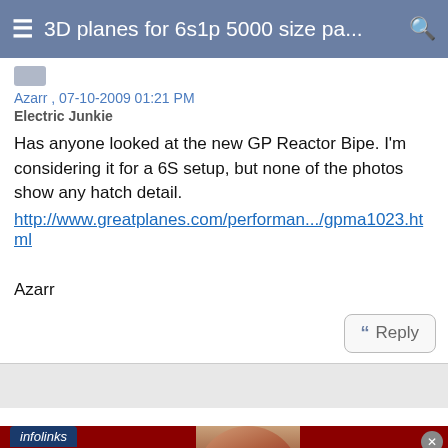3D planes for 6s1p 5000 size pa...
Azarr , 07-10-2009 01:21 PM
Electric Junkie
Has anyone looked at the new GP Reactor Bipe. I'm considering it for a 6S setup, but none of the photos show any hatch detail.
http://www.greatplanes.com/performan.../gpma1023.html

Azarr
[Figure (screenshot): Reply button with quote marks icon]
[Figure (advertisement): Infolinks ad banner: KISS BORING LIPS GOODBYE - Macy's SHOP NOW advertisement with woman's face]